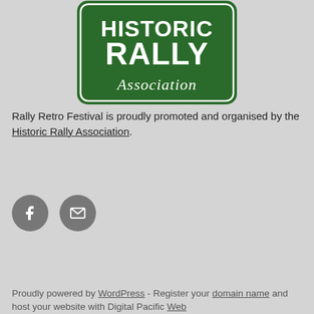[Figure (logo): Historic Rally Association logo — dark green rectangular badge with white text reading HISTORIC RALLY and italic script Association]
Rally Retro Festival is proudly promoted and organised by the Historic Rally Association.
[Figure (other): Social media icons: Facebook (f) and email envelope, both grey circles]
Proudly powered by WordPress - Register your domain name and host your website with Digital Pacific Web